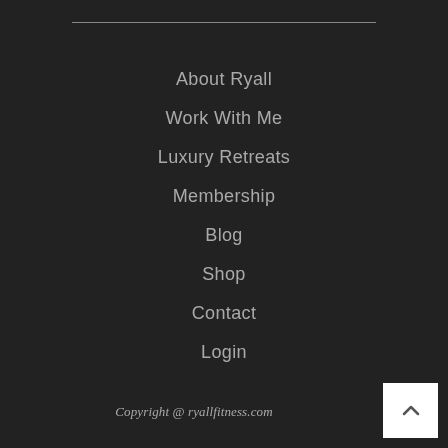About Ryall
Work With Me
Luxury Retreats
Membership
Blog
Shop
Contact
Login
Copyright @ ryallfitness.com